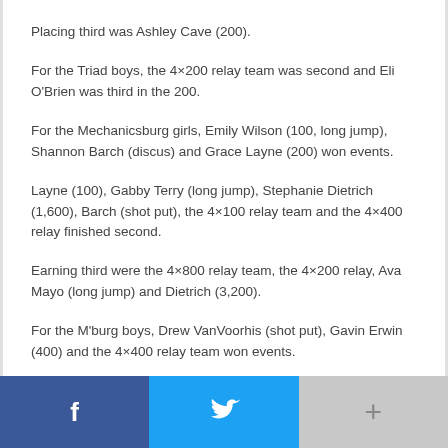Placing third was Ashley Cave (200).
For the Triad boys, the 4×200 relay team was second and Eli O'Brien was third in the 200.
For the Mechanicsburg girls, Emily Wilson (100, long jump), Shannon Barch (discus) and Grace Layne (200) won events.
Layne (100), Gabby Terry (long jump), Stephanie Dietrich (1,600), Barch (shot put), the 4×100 relay team and the 4×400 relay finished second.
Earning third were the 4×800 relay team, the 4×200 relay, Ava Mayo (long jump) and Dietrich (3,200).
For the M'burg boys, Drew VanVoorhis (shot put), Gavin Erwin (400) and the 4×400 relay team won events.